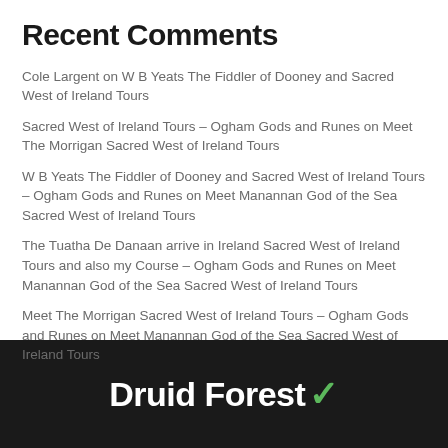Recent Comments
Cole Largent on W B Yeats The Fiddler of Dooney and Sacred West of Ireland Tours
Sacred West of Ireland Tours – Ogham Gods and Runes on Meet The Morrigan Sacred West of Ireland Tours
W B Yeats The Fiddler of Dooney and Sacred West of Ireland Tours – Ogham Gods and Runes on Meet Manannan God of the Sea Sacred West of Ireland Tours
The Tuatha De Danaan arrive in Ireland Sacred West of Ireland Tours and also my Course – Ogham Gods and Runes on Meet Manannan God of the Sea Sacred West of Ireland Tours
Meet The Morrigan Sacred West of Ireland Tours – Ogham Gods and Runes on Meet Manannan God of the Sea Sacred West of Ireland Tours
Druid Forest